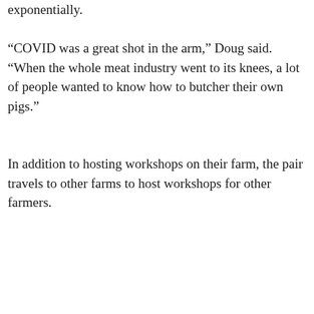exponentially.
“COVID was a great shot in the arm,” Doug said. “When the whole meat industry went to its knees, a lot of people wanted to know how to butcher their own pigs.”
In addition to hosting workshops on their farm, the pair travels to other farms to host workshops for other farmers.